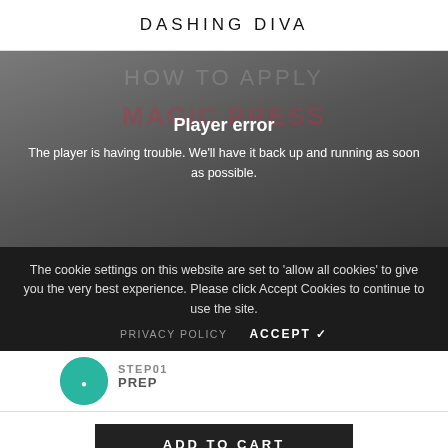DASHING DIVA
[Figure (screenshot): Video player area showing a blurred hand with nail art, overlaid with a 'Player error' message. Text reads 'Player error' and 'The player is having trouble. We'll have it back up and running as soon as possible.']
The cookie settings on this website are set to 'allow all cookies' to give you the very best experience. Please click Accept Cookies to continue to use the site.
PRIVACY POLICY   ACCEPT ✓
STEP01
PREP
ADD TO CART
[Figure (screenshot): Bottom navigation bar with icons: home, search, cart with badge '0', heart/wishlist, and account/person icons.]